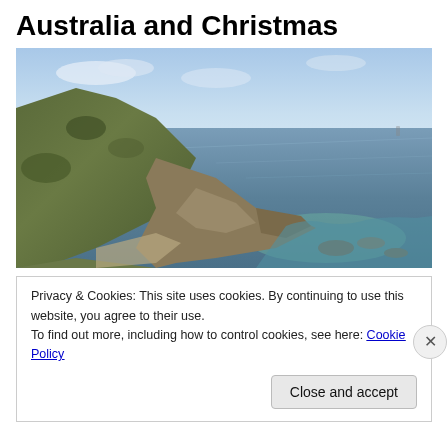Australia and Christmas
[Figure (photo): Coastal cliff landscape photograph showing rocky green hillside sloping down to a calm blue-grey sea, with rocky outcrops at the water's edge and a pale blue sky in the background.]
Privacy & Cookies: This site uses cookies. By continuing to use this website, you agree to their use.
To find out more, including how to control cookies, see here: Cookie Policy
Close and accept